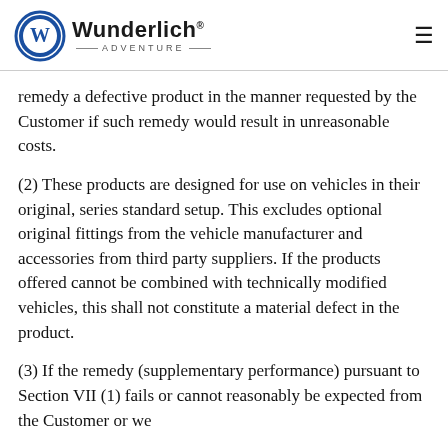Wunderlich Adventure
remedy a defective product in the manner requested by the Customer if such remedy would result in unreasonable costs.
(2) These products are designed for use on vehicles in their original, series standard setup. This excludes optional original fittings from the vehicle manufacturer and accessories from third party suppliers. If the products offered cannot be combined with technically modified vehicles, this shall not constitute a material defect in the product.
(3) If the remedy (supplementary performance) pursuant to Section VII (1) fails or cannot reasonably be expected from the Customer or we